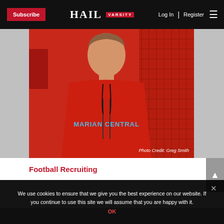Subscribe | HAIL VARSITY | Log In | Register
[Figure (photo): Young male student wearing a red Marian Central hoodie sweatshirt, smiling, standing in front of a red background with chain-link fence. Photo Credit: Greg Smith.]
Photo Credit: Greg Smith
Football Recruiting
We use cookies to ensure that we give you the best experience on our website. If you continue to use this site we will assume that you are happy with it.
OK